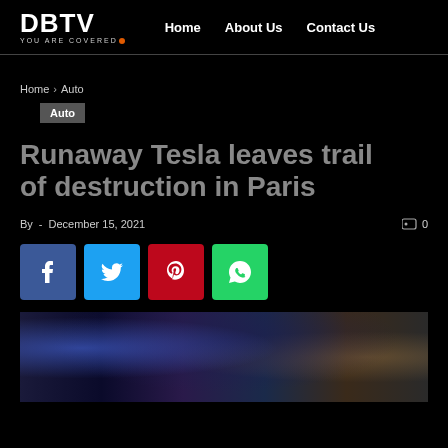DBTV YOU ARE COVERED | Home | About Us | Contact Us
Home › Auto
Auto
Runaway Tesla leaves trail of destruction in Paris
By - December 15, 2021   0
[Figure (other): Social share buttons: Facebook (blue), Twitter (light blue), Pinterest (red), WhatsApp (green)]
[Figure (photo): Night scene photo showing emergency lights, blue police lights visible, dark urban setting in Paris]